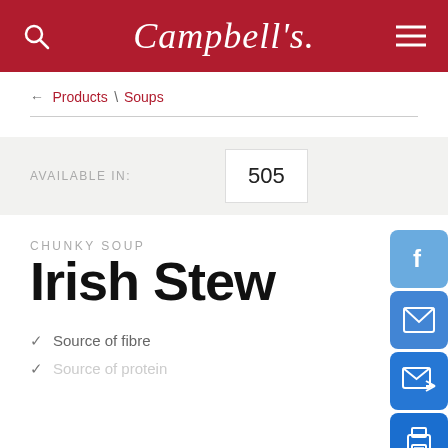Campbell's
← Products \ Soups
AVAILABLE IN: 505
CHUNKY SOUP
Irish Stew
✓ Source of fibre